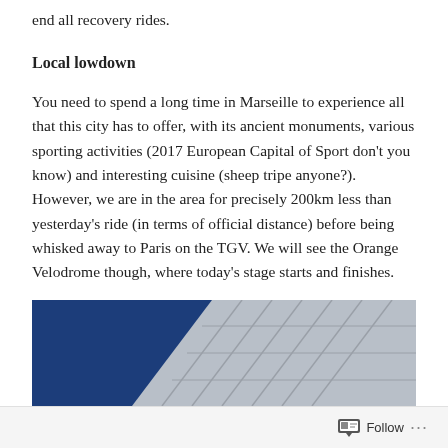end all recovery rides.
Local lowdown
You need to spend a long time in Marseille to experience all that this city has to offer, with its ancient monuments, various sporting activities (2017 European Capital of Sport don't you know) and interesting cuisine (sheep tripe anyone?). However, we are in the area for precisely 200km less than yesterday's ride (in terms of official distance) before being whisked away to Paris on the TGV. We will see the Orange Velodrome though, where today's stage starts and finishes.
[Figure (photo): Partial view of a large modern stadium or velodrome exterior, showing a dark navy blue curved roof structure against a light grey panelled wall or facade.]
Follow